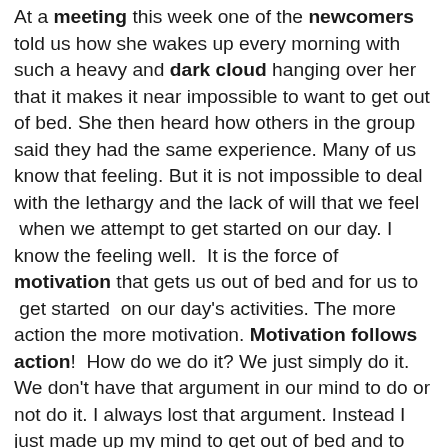At a meeting this week one of the newcomers told us how she wakes up every morning with such a heavy and dark cloud hanging over her that it makes it near impossible to want to get out of bed. She then heard how others in the group said they had the same experience. Many of us know that feeling. But it is not impossible to deal with the lethargy and the lack of will that we feel  when we attempt to get started on our day. I know the feeling well.  It is the force of motivation that gets us out of bed and for us to  get started  on our day's activities. The more action the more motivation. Motivation follows action!  How do we do it? We just simply do it. We don't have that argument in our mind to do or not do it. I always lost that argument. Instead I just made up my mind to get out of bed and to start walking. That was my iron commitment to myself. I had to get back on my feet. No excuses. No “maybe later” nonsense thoughts were allowed. No inner arguments. I just did it. And after about 10 minutes of walking and moving the body I thought to myself “hey, I'm glad that I  am doing this.”  If you feel the way we have described here then you realize that